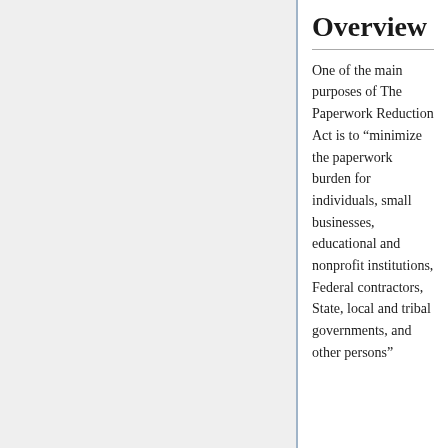Overview
One of the main purposes of The Paperwork Reduction Act is to “minimize the paperwork burden for individuals, small businesses, educational and nonprofit institutions, Federal contractors, State, local and tribal governments, and other persons”